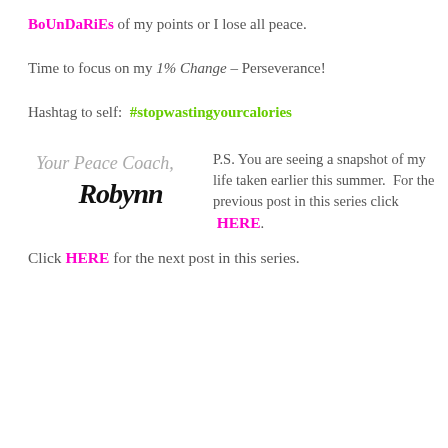BoUnDaRiEs of my points or I lose all peace.
Time to focus on my 1% Change – Perseverance!
Hashtag to self:  #stopwastingyourcalories
[Figure (illustration): Handwritten signature reading 'Your Peace Coach, Robynn' in casual handwritten style]
P.S. You are seeing a snapshot of my life taken earlier this summer.  For the previous post in this series click  HERE.
Click HERE for the next post in this series.